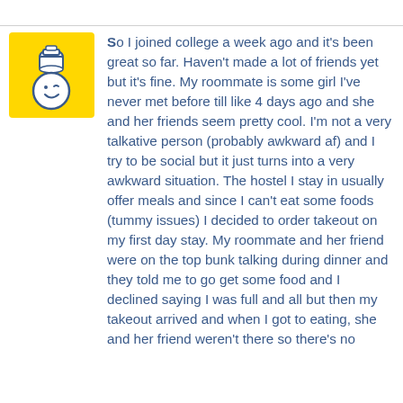[Figure (logo): Yellow square avatar with a cartoon face (winking smiley) and a small jar/pot icon above it]
So I joined college a week ago and it's been great so far. Haven't made a lot of friends yet but it's fine. My roommate is some girl I've never met before till like 4 days ago and she and her friends seem pretty cool. I'm not a very talkative person (probably awkward af) and I try to be social but it just turns into a very awkward situation. The hostel I stay in usually offer meals and since I can't eat some foods (tummy issues) I decided to order takeout on my first day stay. My roommate and her friend were on the top bunk talking during dinner and they told me to go get some food and I declined saying I was full and all but then my takeout arrived and when I got to eating, she and her friend weren't there so there's no